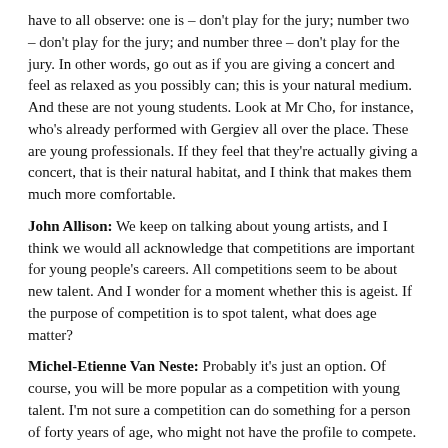have to all observe: one is – don't play for the jury; number two – don't play for the jury; and number three – don't play for the jury. In other words, go out as if you are giving a concert and feel as relaxed as you possibly can; this is your natural medium. And these are not young students. Look at Mr Cho, for instance, who's already performed with Gergiev all over the place. These are young professionals. If they feel that they're actually giving a concert, that is their natural habitat, and I think that makes them much more comfortable.
John Allison: We keep on talking about young artists, and I think we would all acknowledge that competitions are important for young people's careers. All competitions seem to be about new talent. And I wonder for a moment whether this is ageist. If the purpose of competition is to spot talent, what does age matter?
Michel-Etienne Van Neste: Probably it's just an option. Of course, you will be more popular as a competition with young talent. I'm not sure a competition can do something for a person of forty years of age, who might not have the profile to compete.
John Allison: You mean they would have had a slightly problematic career before, which has held them back?
Michel-Etienne Van Neste: It happens a lot with voice competitions, for example.